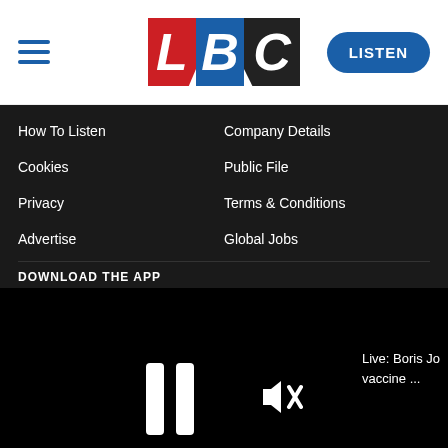[Figure (logo): LBC radio logo with L in red, B in blue, C in dark/black, stylized italic bold letters]
How To Listen
Company Details
Cookies
Public File
Privacy
Terms & Conditions
Advertise
Global Jobs
DOWNLOAD THE APP
[Figure (screenshot): Video player with black background, pause button (two white vertical bars), mute icon with X, and text 'Live: Boris Jo... vaccine ...' on the right. Progress bar at bottom.]